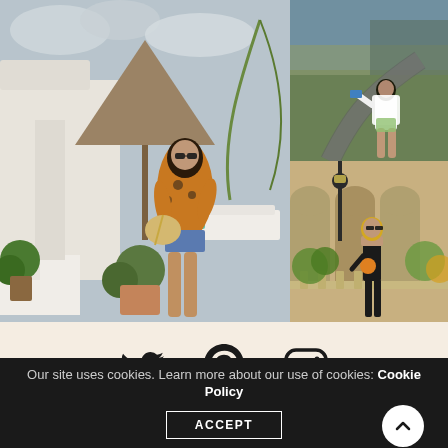[Figure (photo): Woman in floral orange blazer and denim shorts holding a straw bag, standing by white Mediterranean-style lounge area with thatched umbrella]
[Figure (photo): Woman in white outfit sitting on a curved road/track with landscape in background]
[Figure (photo): Woman in black outfit standing on a stone balcony/terrace with arched architecture and garden]
[Figure (infographic): Social media icons: Twitter, Pinterest, Instagram on a cream/beige background]
Our site uses cookies. Learn more about our use of cookies: Cookie Policy
ACCEPT